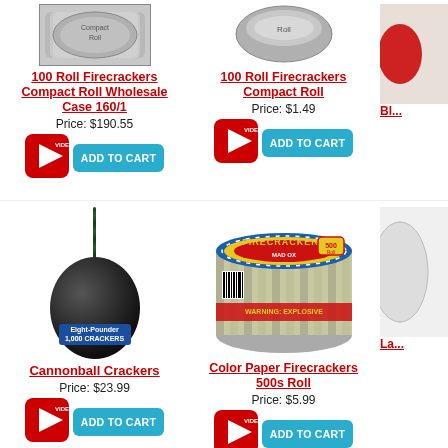[Figure (photo): 100 Roll Firecrackers Compact Roll Wholesale Case 160/1 product image - silver foil roll]
100 Roll Firecrackers Compact Roll Wholesale Case 160/1
Price: $190.55
[Figure (photo): Video play button (red)]
[Figure (photo): Add to Cart button]
[Figure (photo): 100 Roll Firecrackers Compact Roll product image - silver foil roll]
100 Roll Firecrackers Compact Roll
Price: $1.49
[Figure (photo): Video play button (red)]
[Figure (photo): Add to Cart button]
[Figure (photo): Partially visible product on right edge]
[Figure (photo): Cannonball Crackers product image - black cannonball with fuse and Eight-Pounder label]
Cannonball Crackers
Price: $23.99
[Figure (photo): Video play button (red)]
[Figure (photo): Add to Cart button]
[Figure (photo): Color Paper Firecrackers 500s Roll product image - round silver roll with MAD OX Firecrackers label]
Color Paper Firecrackers 500s Roll
Price: $5.99
[Figure (photo): Video play button (red)]
[Figure (photo): Add to Cart button]
La...